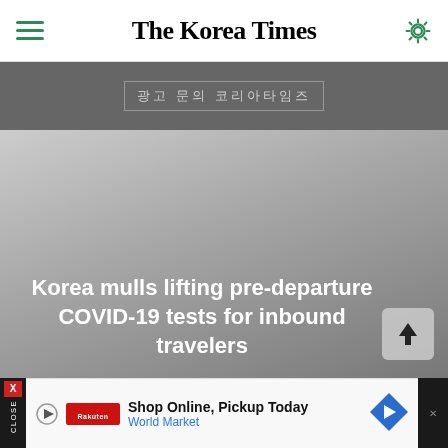The Korea Times
[Figure (screenshot): Advertisement banner with Korean text on dark gray background]
[Figure (photo): Gray gradient image placeholder for news article about Korea mulling lifting pre-departure COVID-19 tests for inbound travelers]
Korea mulls lifting pre-departure COVID-19 tests for inbound travelers
[Figure (screenshot): Bottom advertisement banner: Shop Online, Pickup Today - World Market with play button and navigation arrow icon]